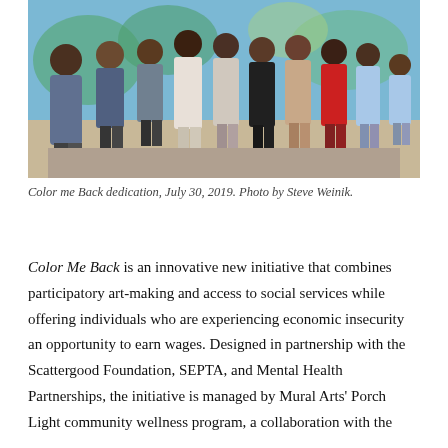[Figure (photo): Group photo of approximately 15 people standing together in front of a colorful mural. The photo was taken at the Color Me Back dedication event on July 30, 2019.]
Color me Back dedication, July 30, 2019. Photo by Steve Weinik.
Color Me Back is an innovative new initiative that combines participatory art-making and access to social services while offering individuals who are experiencing economic insecurity an opportunity to earn wages. Designed in partnership with the Scattergood Foundation, SEPTA, and Mental Health Partnerships, the initiative is managed by Mural Arts' Porch Light community wellness program, a collaboration with the